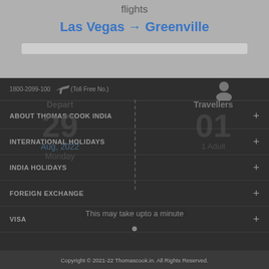flights
Las Vegas → Greenville
1800-2099-100 (Toll Free No.)
Depart
Travellers
29
01
Aug, 2022
1 Adult
Monday
ABOUT THOMAS COOK INDIA
INTERNATIONAL HOLIDAYS
INDIA HOLIDAYS
FOREIGN EXCHANGE
VISA
This may take upto a minute
Copyright © 2021-22 Thomascook.in. All Rights Reserved.